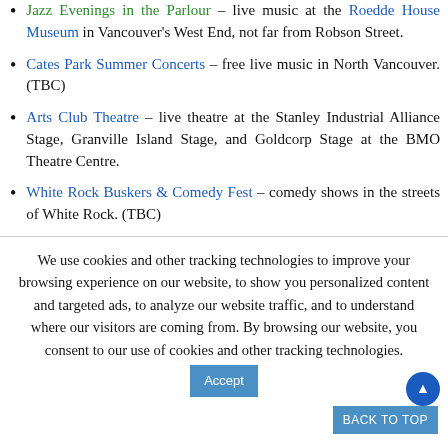Jazz Evenings in the Parlour – live music at the Roedde House Museum in Vancouver's West End, not far from Robson Street.
Cates Park Summer Concerts – free live music in North Vancouver. (TBC)
Arts Club Theatre – live theatre at the Stanley Industrial Alliance Stage, Granville Island Stage, and Goldcorp Stage at the BMO Theatre Centre.
White Rock Buskers & Comedy Fest – comedy shows in the streets of White Rock. (TBC)
We use cookies and other tracking technologies to improve your browsing experience on our website, to show you personalized content and targeted ads, to analyze our website traffic, and to understand where our visitors are coming from. By browsing our website, you consent to our use of cookies and other tracking technologies.